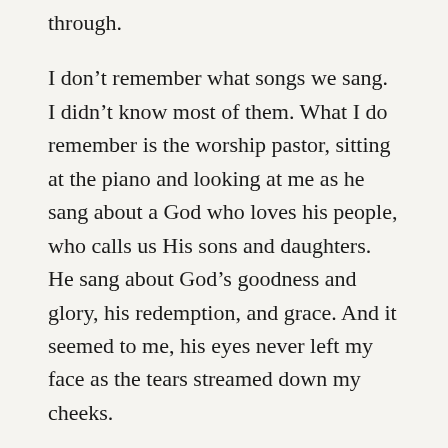through.
I don't remember what songs we sang. I didn't know most of them. What I do remember is the worship pastor, sitting at the piano and looking at me as he sang about a God who loves his people, who calls us His sons and daughters. He sang about God's goodness and glory, his redemption, and grace. And it seemed to me, his eyes never left my face as the tears streamed down my cheeks.
The house lights were low, the stage lights bright. It's entirely possible that he didn't see me at all, but everything